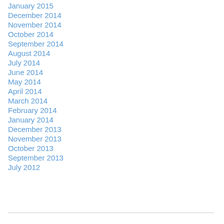January 2015
December 2014
November 2014
October 2014
September 2014
August 2014
July 2014
June 2014
May 2014
April 2014
March 2014
February 2014
January 2014
December 2013
November 2013
October 2013
September 2013
July 2012